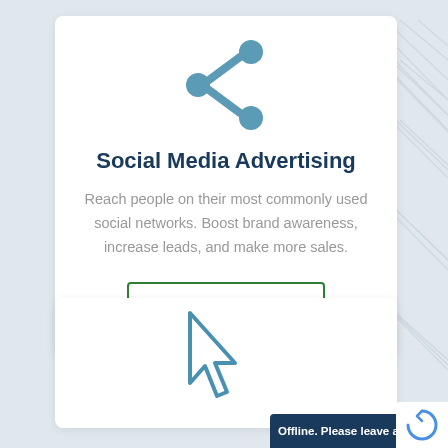[Figure (illustration): Social share icon in teal/steel blue — two connected nodes forming a share/network symbol]
Social Media Advertising
Reach people on their most commonly used social networks. Boost brand awareness, increase leads, and make more sales.
LEARN MORE
[Figure (illustration): Cursor/pointer arrow icon in teal blue at bottom second card]
Offline. Please leave a Message.